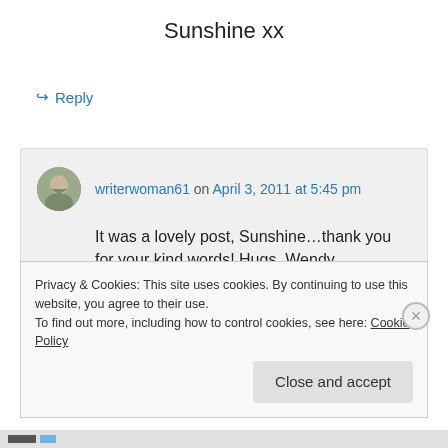Sunshine xx
↳ Reply
writerwoman61 on April 3, 2011 at 5:45 pm
It was a lovely post, Sunshine…thank you for your kind words! Hugs, Wendy
↳ Reply
Privacy & Cookies: This site uses cookies. By continuing to use this website, you agree to their use.
To find out more, including how to control cookies, see here: Cookie Policy
Close and accept